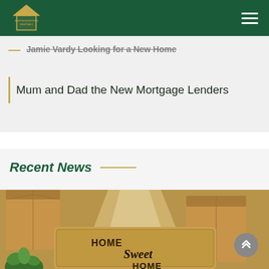[Figure (logo): SPR Santrens/Peters Removals logo in a house/roof shape, shown in dark green navigation bar]
Jamie Vardy Looking for a New Home (strikethrough)
Mum and Dad the New Mortgage Lenders
Recent News
[Figure (photo): Photo of moving boxes and a doormat reading 'Home Sweet Home' with green plants visible, warm golden light]